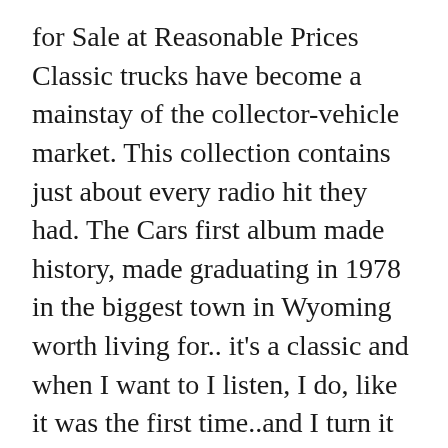for Sale at Reasonable Prices Classic trucks have become a mainstay of the collector-vehicle market. This collection contains just about every radio hit they had. The Cars first album made history, made graduating in 1978 in the biggest town in Wyoming worth living for.. it's a classic and when I want to I listen, I do, like it was the first time..and I turn it up.. All Mixed Up is one of the greatest songs ever recorded and the band was over the top cool.. Nejsme žádní novináři, ani bloggeři!! Awesome. To calculate the overall star rating and percentage breakdown by star, we don't use a simple average. Find Classic Cars for Sale in Topeka, KS on Oodle Classifieds. Warner. Five CD box set containing a quintet of original